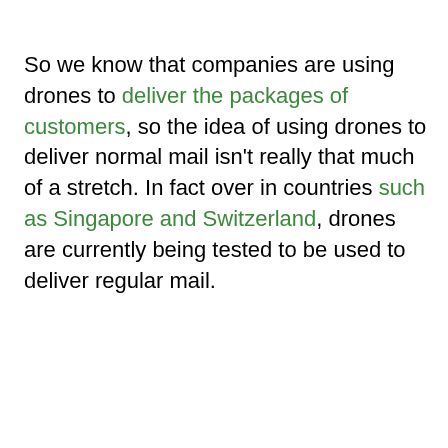So we know that companies are using drones to deliver the packages of customers, so the idea of using drones to deliver normal mail isn't really that much of a stretch. In fact over in countries such as Singapore and Switzerland, drones are currently being tested to be used to deliver regular mail.